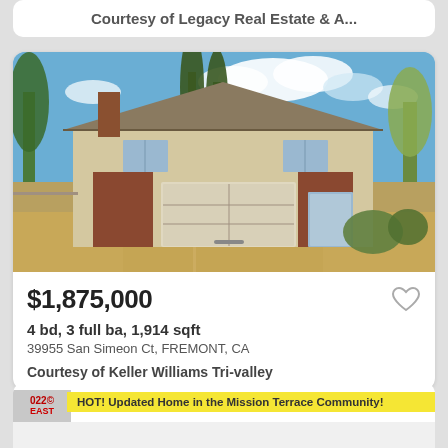Courtesy of Legacy Real Estate & A...
[Figure (photo): Exterior photo of a two-story single-family home with a double garage, brick accents, trees in background, blue sky with clouds. Address: 39955 San Simeon Ct, Fremont, CA]
$1,875,000
4 bd, 3 full ba, 1,914 sqft
39955 San Simeon Ct, FREMONT, CA
Courtesy of Keller Williams Tri-valley
HOT! Updated Home in the Mission Terrace Community!